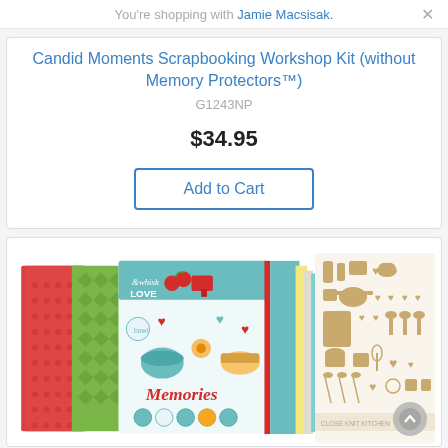You're shopping with Jamie Macsisak.
Candid Moments Scrapbooking Workshop Kit (without Memory Protectors™)
G1243NP
$34.95
Add to Cart
[Figure (photo): Photo of scrapbooking workshop kit contents: decorative patterned papers with baking/kitchen theme ('Whisk & Love', 'Memories'), plus gold/tan kitchen-themed sticker sheet with utensils, pots, and hearts.]